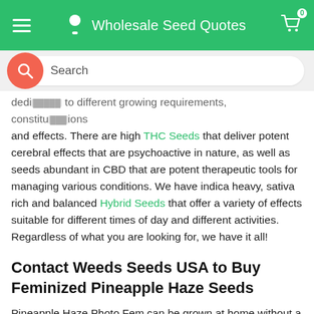Wholesale Seed Quotes
dedicated to different growing requirements, constitutions and effects. There are high THC Seeds that deliver potent cerebral effects that are psychoactive in nature, as well as seeds abundant in CBD that are potent therapeutic tools for managing various conditions. We have indica heavy, sativa rich and balanced Hybrid Seeds that offer a variety of effects suitable for different times of day and different activities. Regardless of what you are looking for, we have it all!
Contact Weeds Seeds USA to Buy Feminized Pineapple Haze Seeds
Pineapple Haze Photo Fem can be grown at home without a lot of expertise. This, combined with the delicious flavor profile and profound effects make it an exceptionally well loved option for connoisseurs. If there are any doubts getting in the way of your choice to buy